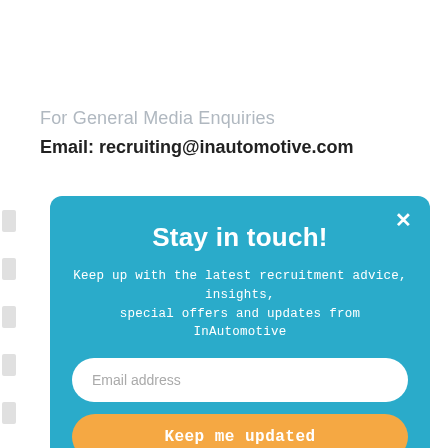For General Media Enquiries
Email: recruiting@inautomotive.com
[Figure (screenshot): A modal popup with a teal/blue background. Title: 'Stay in touch!' Subtitle text: 'Keep up with the latest recruitment advice, insights, special offers and updates from InAutomotive'. An email address input field, an orange 'Keep me updated' button, and a 'NO THANKS' link. A white X close button is in the top right corner.]